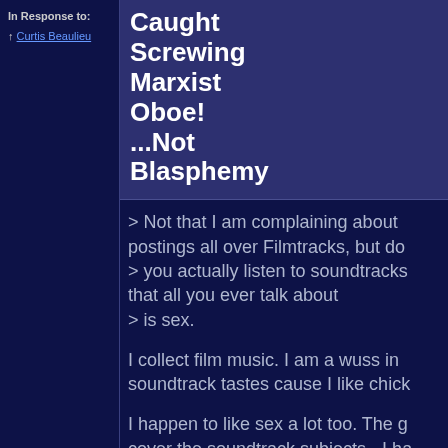In Response to:
↑ Curtis Beaulieu
Caught Screwing Marxist Oboe! ...Not Blasphemy
> Not that I am complaining about postings all over Filmtracks, but do > you actually listen to soundtracks that all you ever talk about > is sex.
I collect film music. I am a wuss in soundtrack tastes cause I like chick
I happen to like sex a lot too. The g cover the soundtrack subjects - I ha subjects.
Nobody says that sex and soundtrac interesting to the same people, yes?